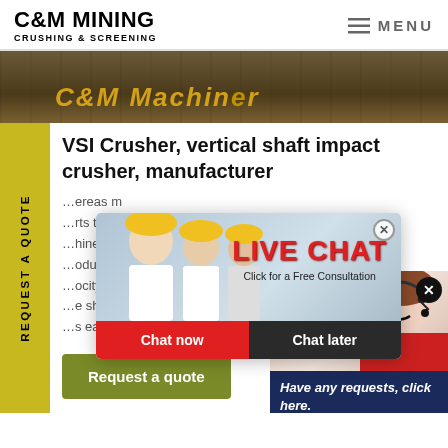C&M MINING CRUSHING & SCREENING | MENU
[Figure (photo): Banner photo showing C&M Machinery equipment in an outdoor mining setting with golden/yellow text overlay]
VSI Crusher, vertical shaft impact crusher, manufacturer
...ereas m...rts to c...hine t...oduces...ocity impact crushing achieved...e shape of stone, reducing proc...s easing the screening operati...
[Figure (screenshot): Live chat popup with workers in yellow helmets. LIVE CHAT header in red, Click for a Free Consultation, Chat now and Chat later buttons]
[Figure (photo): Right side chat widget showing a woman with headset, Have any requests, click here. text in navy blue and Quotation button in gold]
REQUEST A QUOTE (sidebar)
Request a quote
Quotation